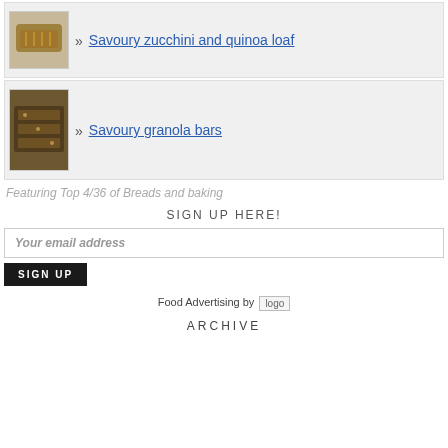Savoury zucchini and quinoa loaf
Savoury granola bars
Featuring Top 4/36 of Breads and baking
SIGN UP HERE!
Your email address
SIGN UP
Food Advertising by logo
ARCHIVE